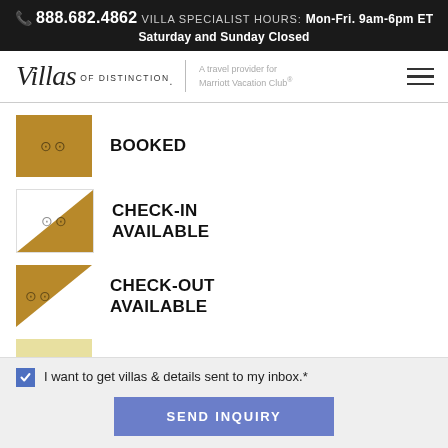📞 888.682.4862  VILLA SPECIALIST HOURS:  Mon-Fri. 9am-6pm ET
Saturday and Sunday Closed
[Figure (logo): Villas of Distinction logo with tagline 'A travel provider for Marriott Vacation Club®' and hamburger menu icon]
BOOKED
CHECK-IN AVAILABLE
CHECK-OUT AVAILABLE
ON HOLD
I want to get villas & details sent to my inbox.*
SEND INQUIRY